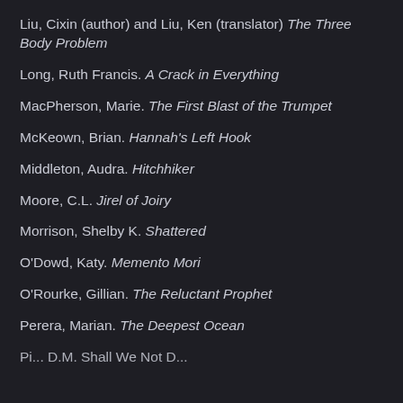Liu, Cixin (author) and Liu, Ken (translator) The Three Body Problem
Long, Ruth Francis. A Crack in Everything
MacPherson, Marie. The First Blast of the Trumpet
McKeown, Brian. Hannah's Left Hook
Middleton, Audra. Hitchhiker
Moore, C.L. Jirel of Joiry
Morrison, Shelby K. Shattered
O'Dowd, Katy. Memento Mori
O'Rourke, Gillian. The Reluctant Prophet
Perera, Marian. The Deepest Ocean
Pi... D.M. Shall We Not D...